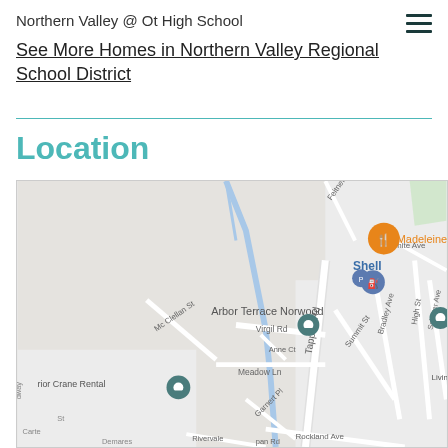Northern Valley @ Ot High School
See More Homes in Northern Valley Regional School District
Location
[Figure (map): Google Maps screenshot showing the area around Tappan Rd, Norwood NJ. Shows Arbor Terrace Norwood marker, Shell gas station marker (blue/orange), Madeleine (restaurant marker in orange), and other map pins. Streets visible include Tappan Rd, Virgil Rd, Meadow Ln, Bradley Ave, High St, Scharer Ave, Summit St, Mc Clellan St, Feitner St, Anne Ct, Garnert Pl, Rivervale Rd, Rockland Ave, White Ave. Location pin visible near 'rior Crane Rental' at bottom left.]